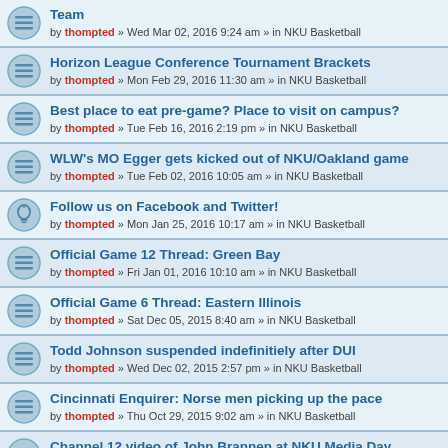Team — by thompted » Wed Mar 02, 2016 9:24 am » in NKU Basketball
Horizon League Conference Tournament Brackets — by thompted » Mon Feb 29, 2016 11:30 am » in NKU Basketball
Best place to eat pre-game? Place to visit on campus? — by thompted » Tue Feb 16, 2016 2:19 pm » in NKU Basketball
WLW's MO Egger gets kicked out of NKU/Oakland game — by thompted » Tue Feb 02, 2016 10:05 am » in NKU Basketball
Follow us on Facebook and Twitter! — by thompted » Mon Jan 25, 2016 10:17 am » in NKU Basketball
Official Game 12 Thread: Green Bay — by thompted » Fri Jan 01, 2016 10:10 am » in NKU Basketball
Official Game 6 Thread: Eastern Illinois — by thompted » Sat Dec 05, 2015 8:40 am » in NKU Basketball
Todd Johnson suspended indefinitiely after DUI — by thompted » Wed Dec 02, 2015 2:57 pm » in NKU Basketball
Cincinnati Enquirer: Norse men picking up the pace — by thompted » Thu Oct 29, 2015 9:02 am » in NKU Basketball
Channel 12 video of John Brannen at NKU Media Day — by thompted » Wed Oct 28, 2015 1:28 pm » in NKU Basketball
River City News: Norse Basketball Ready for New Challenge of New League — by thompted » Wed Oct 28, 2015 1:18 pm » in NKU Basketball